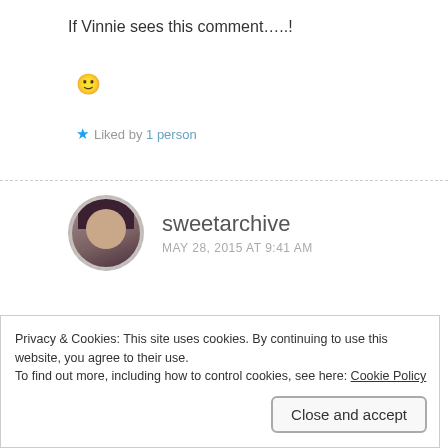If Vinnie sees this comment…..!
🙂
★ Liked by 1 person
sweetarchive
MAY 28, 2015 AT 9:41 AM
LOL! Really? I guess it's healthy to be proud of your
Privacy & Cookies: This site uses cookies. By continuing to use this website, you agree to their use.
To find out more, including how to control cookies, see here: Cookie Policy
Close and accept